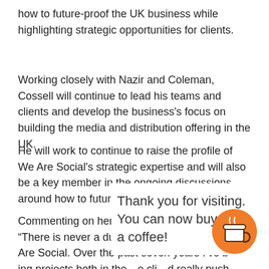how to future-proof the UK business while highlighting strategic opportunities for clients.
Working closely with Nazir and Coleman, Cossell will continue to lead his teams and clients and develop the business's focus on building the media and distribution offering in the UK.
He will work to continue to raise the profile of We Are Social's strategic expertise and will also be a key member in the ongoing discussions around how to future-proof the business.
Commenting on her promotion, Nazir said: “There is never a dull moment working at We Are Social. Over the past seven years I've b[...] ing projects both in the [...] e cli[...] d really push[...]
[Figure (other): Overlay popup: 'Thank you for visiting. You can now buy me a coffee!' with an orange circular coffee cup button icon in the bottom right corner.]